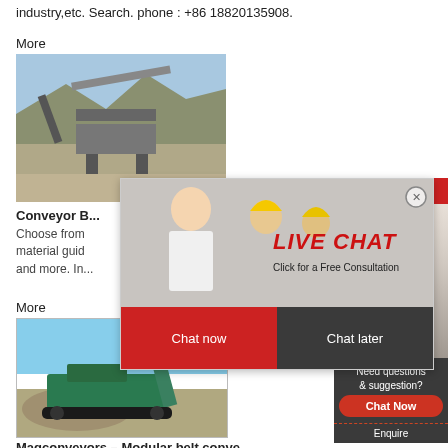industry,etc. Search. phone : +86 18820135908.
More
[Figure (photo): Construction machinery / crushing plant with excavator at a quarry site]
Conveyor B...
Choose from... material guid... and more. In...
More
[Figure (screenshot): Live Chat popup with workers in hard hats, LIVE CHAT text, 'Click for a Free Consultation', Chat now and Chat later buttons]
[Figure (photo): Right sidebar with agent photo, '24 Hrs Online' bar, 'Need questions & suggestion?' box with Chat Now button and Enquire bar]
[Figure (photo): Green mobile crushing/conveyor machinery at a quarry site]
Magconveyors – Modular belt conve...